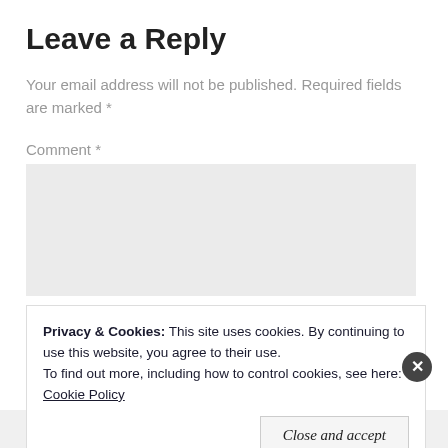Leave a Reply
Your email address will not be published. Required fields are marked *
Comment *
[Figure (screenshot): Empty comment text area input box with light gray background]
Privacy & Cookies: This site uses cookies. By continuing to use this website, you agree to their use. To find out more, including how to control cookies, see here: Cookie Policy
Close and accept
podcast lovers.